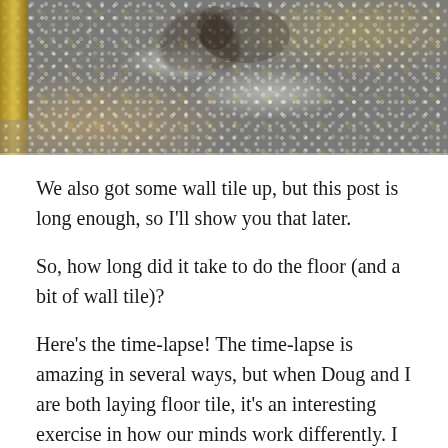[Figure (photo): Overhead photo of a decorative mosaic floor tile with hexagonal patterns in grey, white, and gold tones. A dark cat or animal is partially visible at the top. A gold/brass frame element is visible at the left edge.]
We also got some wall tile up, but this post is long enough, so I'll show you that later.
So, how long did it take to do the floor (and a bit of wall tile)?
Here's the time-lapse! The time-lapse is amazing in several ways, but when Doug and I are both laying floor tile, it's an interesting exercise in how our minds work differently. I laid each pattern by creating the perimeter first, and then filling in the segments. Doug built them like pixels – top to bottom. Fascinating. You can see it